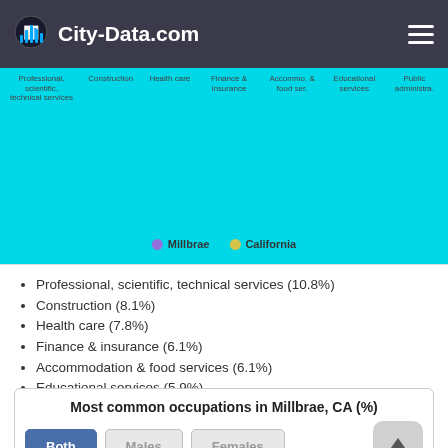City-Data.com
[Figure (bar-chart): Partial bar chart showing industry categories: Professional scientific technical services, Construction, Health care, Finance & insurance, Accommodation & food services, Educational services, Public administration. Legend shows Millbrae (purple) and California (yellow).]
Professional, scientific, technical services (10.8%)
Construction (8.1%)
Health care (7.8%)
Finance & insurance (6.1%)
Accommodation & food services (6.1%)
Educational services (5.9%)
Public administration (3.9%)
Most common occupations in Millbrae, CA (%)